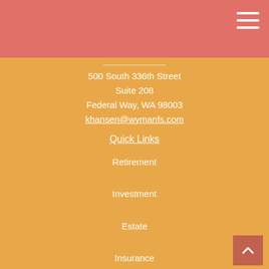500 South 336th Street
Suite 208
Federal Way, WA 98003
khansen@wymanfs.com
Quick Links
Retirement
Investment
Estate
Insurance
Tax
Money
Lifestyle
All Articles
All Videos
All Calculators
All Presentations